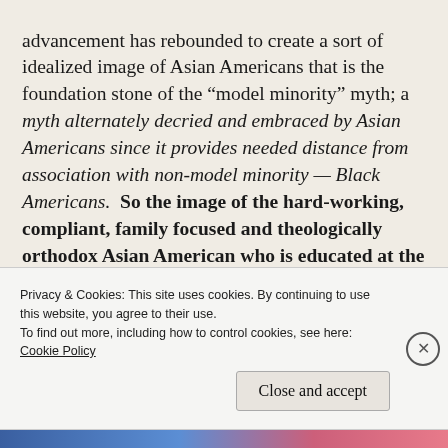advancement has rebounded to create a sort of idealized image of Asian Americans that is the foundation stone of the “model minority” myth; a myth alternately decried and embraced by Asian Americans since it provides needed distance from association with non-model minority — Black Americans.  So the image of the hard-working, compliant, family focused and theologically orthodox Asian American who is educated at the finest evangelical seminaries is set against the decidedly lazy, angry,
Privacy & Cookies: This site uses cookies. By continuing to use this website, you agree to their use.
To find out more, including how to control cookies, see here: Cookie Policy
Close and accept